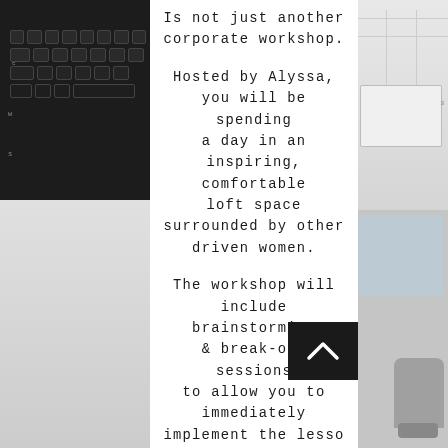[Figure (photo): Left side: dark keyboard photo on top half, light gray office/desk photo on bottom half. Right side: bright office interior with chairs and presentation board.]
Is not just another corporate workshop.

Hosted by Alyssa, you will be spending a day in an inspiring, comfortable loft space surrounded by other driven women.

The workshop will include brainstorming & break-out sessions to allow you to immediately implement the lessons we discuss, create your customized social media marketing strategy, and gain